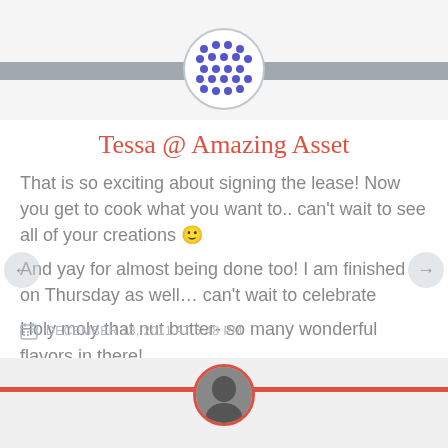[Figure (illustration): Circular avatar with blue dot/diamond pattern on white background, inside a light grey bordered circle, centered at top above a grey horizontal bar]
Tessa @ Amazing Asset
That is so exciting about signing the lease! Now you get to cook what you want to.. can't wait to see all of your creations 🙂
And yay for almost being done too! I am finished on Thursday as well… can't wait to celebrate
Holy moly that nut butter- so many wonderful flavors in there!
DECEMBER 13, 2011 AT 6:48 PM
[Figure (photo): Small circular photo of a woman at the bottom center, with a red horizontal bar, on a light grey background section]